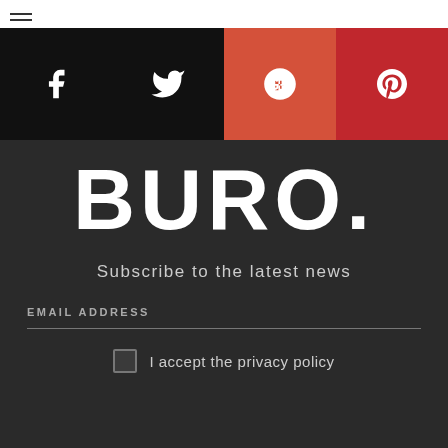[Figure (screenshot): Top navigation bar with hamburger menu icon and partial BURO logo]
[Figure (infographic): Social media icon bar with Facebook, Twitter, Google+, and Pinterest icons on black/red background]
BURO.
Subscribe to the latest news
EMAIL ADDRESS
I accept the privacy policy